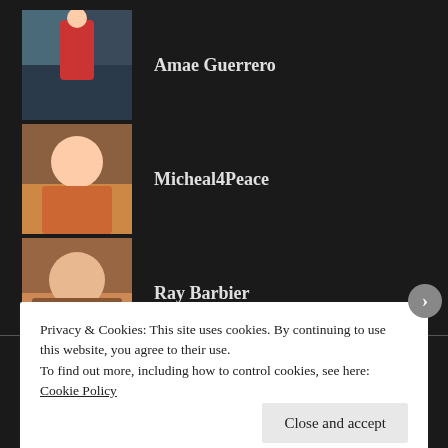Amae Guerrero
Micheal4Peace
Ray Barbier
sjonassen
April 2022
Privacy & Cookies: This site uses cookies. By continuing to use this website, you agree to their use.
To find out more, including how to control cookies, see here: Cookie Policy
Close and accept